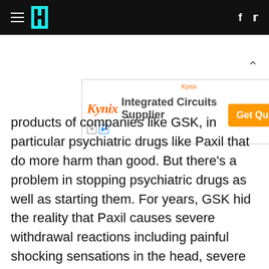HuffPost navigation bar with hamburger menu, logo, Facebook and Twitter icons
[Figure (other): Kynix Integrated Circuits Supplier advertisement banner with Get Quote button]
products of companies like GSK, in particular psychiatric drugs like Paxil that do more harm than good. But there's a problem in stopping psychiatric drugs as well as starting them. For years, GSK hid the reality that Paxil causes severe withdrawal reactions including painful shocking sensations in the head, severe dizziness and imbalance, irritability and aggression, and potentially crushing fatigue depression. Withdrawal symptoms can begin within a day or two of stopping the drug.
The company literally has trapped millions of